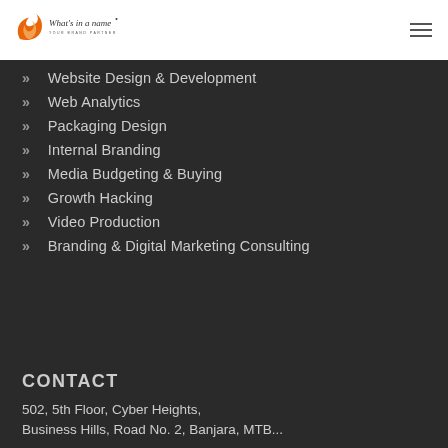[Figure (logo): What's in a name - Your Brand Partner logo with orange swirl icon]
Website Design & Development
Web Analytics
Packaging Design
Internal Branding
Media Budgeting & Buying
Growth Hacking
Video Production
Branding & Digital Marketing Consulting
CONTACT
502, 5th Floor, Cyber Heights,
Business Hills, Road No. 2, Banjara, MTB...